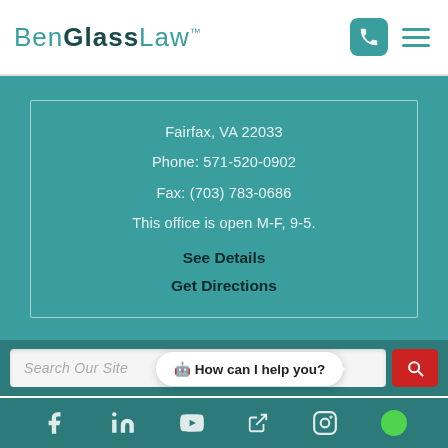BenGlassLaw™
Fairfax, VA 22033
Phone: 571-520-0902
Fax: (703) 783-0686
This office is open M-F, 9-5.
See Details
Get Directions
Search Our Site
🤖 How can I help you?